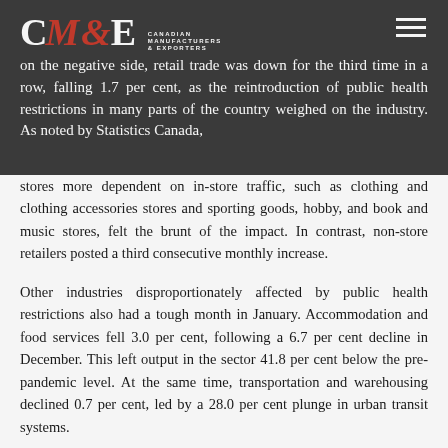CM&E Canadian Manufacturers & Exporters logo with hamburger menu
on the negative side, retail trade was down for the third time in a row, falling 1.7 per cent, as the reintroduction of public health restrictions in many parts of the country weighed on the industry. As noted by Statistics Canada, stores more dependent on in-store traffic, such as clothing and clothing accessories stores and sporting goods, hobby, and book and music stores, felt the brunt of the impact. In contrast, non-store retailers posted a third consecutive monthly increase.
Other industries disproportionately affected by public health restrictions also had a tough month in January. Accommodation and food services fell 3.0 per cent, following a 6.7 per cent decline in December. This left output in the sector 41.8 per cent below the pre-pandemic level. At the same time, transportation and warehousing declined 0.7 per cent, led by a 28.0 per cent plunge in urban transit systems.
MANUFACTURING POSTS SOLID GAIN IN JANUARY